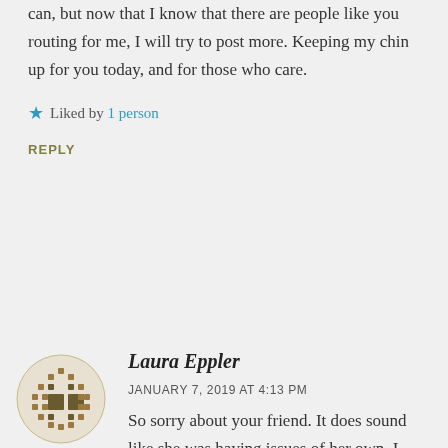can, but now that I know that there are people like you routing for me, I will try to post more. Keeping my chin up for you today, and for those who care.
★ Liked by 1person
REPLY
[Figure (illustration): Avatar image for Laura Eppler - decorative circular pixelated pattern in brown/tan colors]
Laura Eppler
JANUARY 7, 2019 AT 4:13 PM
So sorry about your friend. It does sound like she was having issues of her own. I think some people are scared they will say